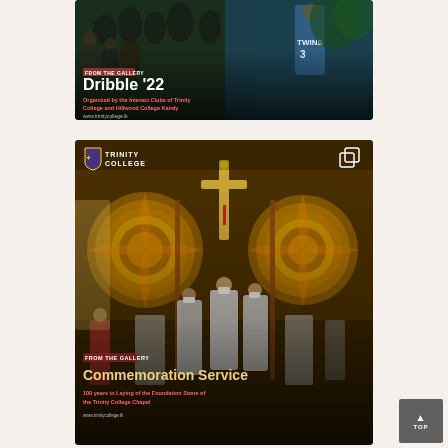[Figure (photo): Basketball game photo with text overlay: FROM THE GALLERY / Dribble '22 / Organized by the Interact Clubs of Trinity College and Hillwood College Kandy / www.trinitycollege.lk]
[Figure (photo): Commemoration Service ceremony photo with Trinity College logo and text overlay: FROM THE GALLERY / Commemoration Service / 100 years in Laying of the Foundation Stone of the Trinity College Chapel / www.trinitycollege.lk]